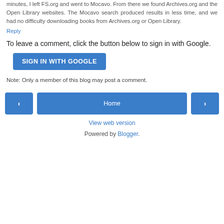minutes, I left FS.org and went to Mocavo. From there we found Archives.org and the Open Library websites. The Mocavo search produced results in less time, and we had no difficulty downloading books from Archives.org or Open Library.
Reply
To leave a comment, click the button below to sign in with Google.
[Figure (other): Blue button labeled SIGN IN WITH GOOGLE]
Note: Only a member of this blog may post a comment.
[Figure (other): Navigation bar with previous arrow button, Home button, and next arrow button]
View web version
Powered by Blogger.